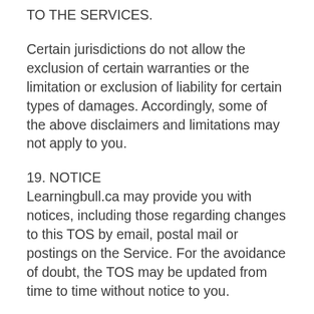TO THE SERVICES.
Certain jurisdictions do not allow the exclusion of certain warranties or the limitation or exclusion of liability for certain types of damages. Accordingly, some of the above disclaimers and limitations may not apply to you.
19. NOTICE
Learningbull.ca may provide you with notices, including those regarding changes to this TOS by email, postal mail or postings on the Service. For the avoidance of doubt, the TOS may be updated from time to time without notice to you.
20. INTELLECTUAL PROPERTY & TRADEMARKS
You hereby acknowledge that except for Content submitted by users of the Site and Services and other third parties, Learningbull.ca is the sole owner of all text, messages, information, software,